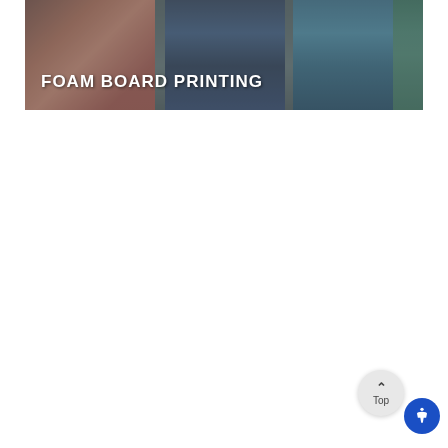[Figure (photo): Banner image showing foam board prints mounted on a wall — a dark red/brown artistic print on the left, a dark blue abstract print in the center, and a teal ocean/island scene on the right. The banner has the text 'FOAM BOARD PRINTING' overlaid in white bold capital letters.]
FOAM BOARD PRINTING